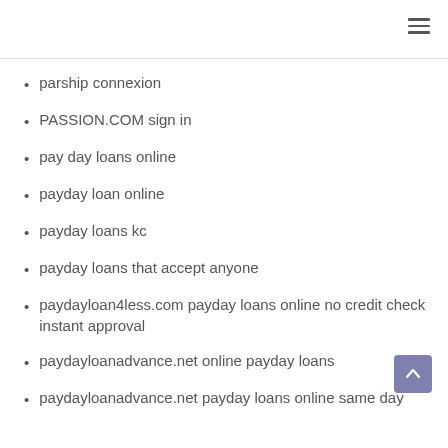parship connexion
PASSION.COM sign in
pay day loans online
payday loan online
payday loans kc
payday loans that accept anyone
paydayloan4less.com payday loans online no credit check instant approval
paydayloanadvance.net online payday loans
paydayloanadvance.net payday loans online same day